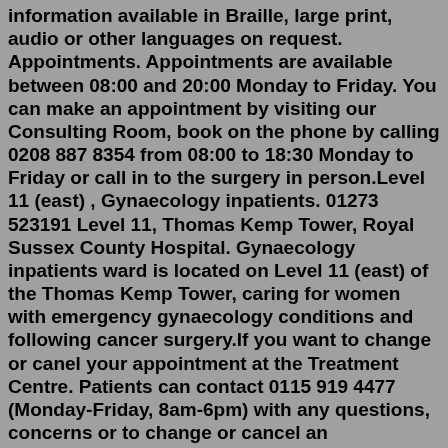information available in Braille, large print, audio or other languages on request. Appointments. Appointments are available between 08:00 and 20:00 Monday to Friday. You can make an appointment by visiting our Consulting Room, book on the phone by calling 0208 887 8354 from 08:00 to 18:30 Monday to Friday or call in to the surgery in person.Level 11 (east) , Gynaecology inpatients. 01273 523191 Level 11, Thomas Kemp Tower, Royal Sussex County Hospital. Gynaecology inpatients ward is located on Level 11 (east) of the Thomas Kemp Tower, caring for women with emergency gynaecology conditions and following cancer surgery.If you want to change or canel your appointment at the Treatment Centre. Patients can contact 0115 919 4477 (Monday-Friday, 8am-6pm) with any questions, concerns or to change or cancel an appointment at the Treatment Centre.For real life-threatening emergencies such as those below - RING 999. Chest pain (suspected heart attack) Suspected stroke. Suspected meningitis. Anaphylactic shock (severe allergy) Heavy bleeding